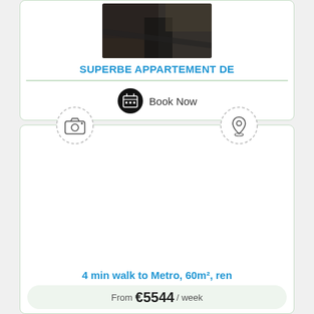[Figure (photo): Dark interior photo of an apartment, partially visible at top of card]
SUPERBE APPARTEMENT DE
[Figure (illustration): Book Now button with calendar icon (black circle with grid calendar icon) and text 'Book Now']
[Figure (illustration): Second listing card showing a camera icon and location pin icon in dashed circles at top]
4 min walk to Metro, 60m², ren
From €5544 / week